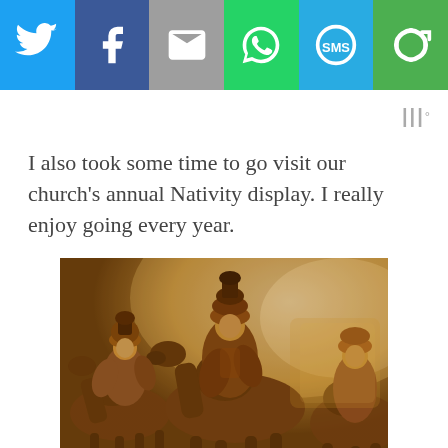[Figure (other): Social media share bar with Twitter, Facebook, Email, WhatsApp, SMS, and Other share buttons]
[Figure (other): Weather widget showing temperature icon (III°)]
I also took some time to go visit our church's annual Nativity display. I really enjoy going every year.
[Figure (photo): Photograph of bronze/gold nativity figurines on camels, three wise men figures, warm sepia/golden toned image]